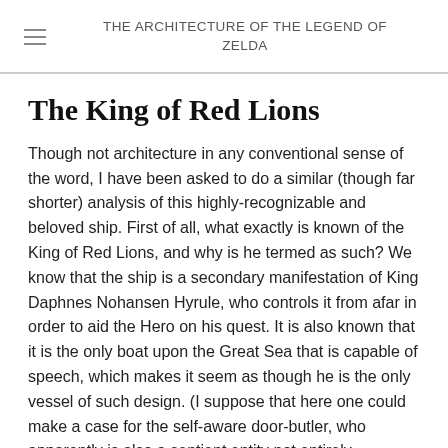THE ARCHITECTURE OF THE LEGEND OF ZELDA
The King of Red Lions
Though not architecture in any conventional sense of the word, I have been asked to do a similar (though far shorter) analysis of this highly-recognizable and beloved ship. First of all, what exactly is known of the King of Red Lions, and why is he termed as such? We know that the ship is a secondary manifestation of King Daphnes Nohansen Hyrule, who controls it from afar in order to aid the Hero on his quest. It is also known that it is the only boat upon the Great Sea that is capable of speech, which makes it seem as though he is the only vessel of such design. (I suppose that here one could make a case for the self-aware door-butler, who apparently is also a sentient entity not entirely dissimilar in material and make. With these conscious constructs, it is hard to